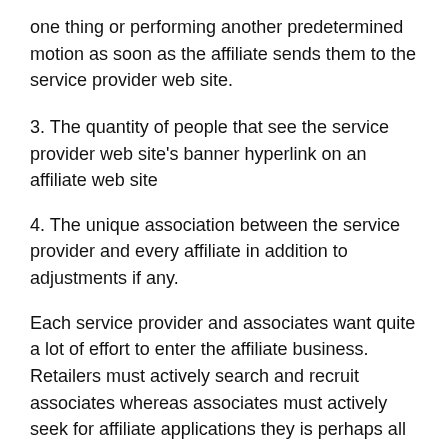one thing or performing another predetermined motion as soon as the affiliate sends them to the service provider web site.
3. The quantity of people that see the service provider web site's banner hyperlink on an affiliate web site
4. The unique association between the service provider and every affiliate in addition to adjustments if any.
Each service provider and associates want quite a lot of effort to enter the affiliate business. Retailers must actively search and recruit associates whereas associates must actively seek for affiliate applications they is perhaps all for. Many large and profitable affiliate applications like Amazon.com even cope with their associates instantly as a result of the advantages they reap from their are greater than price direct administration. Such